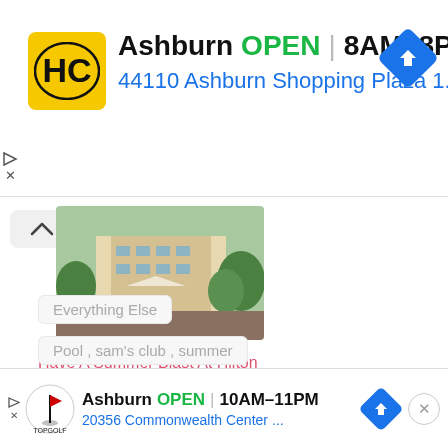[Figure (infographic): Top banner advertisement: HC logo (yellow/black), Ashburn OPEN 8AM-8PM, 44110 Ashburn Shopping Plaza 1., with blue navigation arrow icon]
[Figure (photo): Hotel/resort exterior photo showing building and greenery - Hilton Bonnet Creek Resort]
Have A Summer Blast At Hilton Bonnet Creek Resort In Orlando
Everything Else
Pool ,  sam's club ,  summer
[Figure (infographic): Bottom banner advertisement: TopGolf logo, Ashburn OPEN 10AM-11PM, 20356 Commonwealth Center ..., with blue navigation arrow icon and close button]